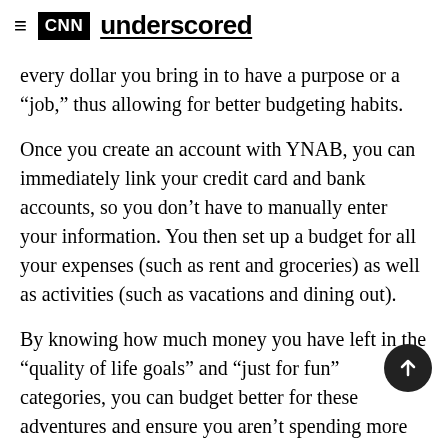CNN underscored
every dollar you bring in to have a purpose or a “job,” thus allowing for better budgeting habits.
Once you create an account with YNAB, you can immediately link your credit card and bank accounts, so you don’t have to manually enter your information. You then set up a budget for all your expenses (such as rent and groceries) as well as activities (such as vacations and dining out).
By knowing how much money you have left in the “quality of life goals” and “just for fun” categories, you can budget better for these adventures and ensure you aren’t spending more than what you actually have in your bank account.
Although this is a great system, the app definitely